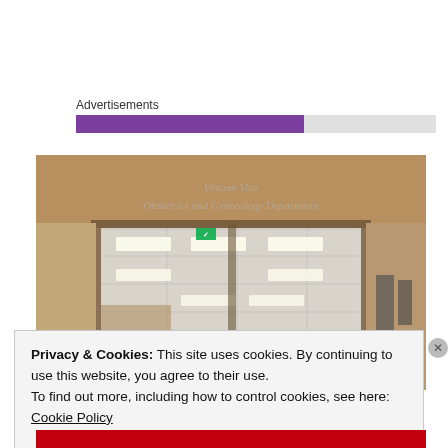Advertisements
[Figure (photo): Entrance to the Vincent Viso Obstetrics and Gynecology Department — a hospital corridor with tan/brown wall panels and a drop ceiling with fluorescent lighting, seen through a large doorway. The department name is printed in silver lettering on the wall above the entrance.]
Privacy & Cookies: This site uses cookies. By continuing to use this website, you agree to their use.
To find out more, including how to control cookies, see here:
Cookie Policy

Close and accept